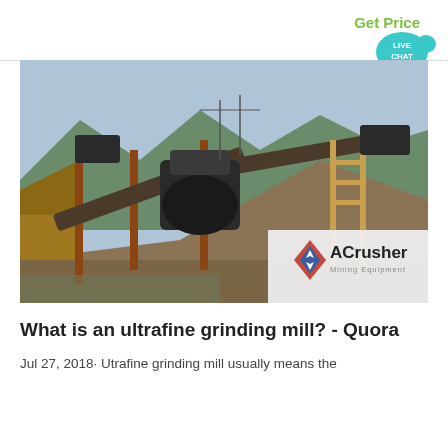Get Price
[Figure (illustration): Live chat speech bubble icon in teal/cyan color with text LIVE CHAT]
[Figure (photo): Industrial mining/crushing equipment facility with conveyor belts, large machinery on a hillside with mountains in background. ACrusher Mining Equipment logo overlay in bottom right corner.]
What is an ultrafine grinding mill? - Quora
Jul 27, 2018· Utrafine grinding mill usually means the